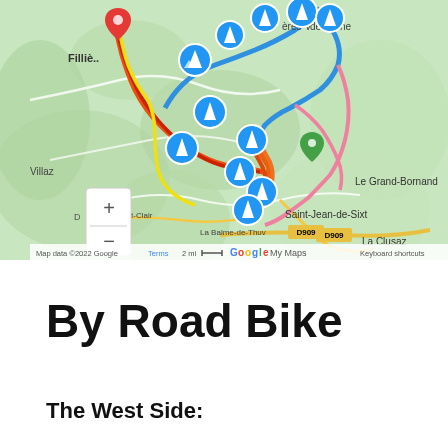[Figure (map): Google My Maps showing a cycling route map around Fillières, Le Grand-Bornand, Saint-Jean-de-Sixt, La Clusaz area in France. Multiple blue mountain/cycling route markers visible. Colored route lines in orange, yellow, red, blue, and pink. A red location pin at Fillières and a green pin near Le Grand-Bornand. Map data ©2022 Google, scale 2 mi, Terms and Keyboard shortcuts shown. Zoom controls (+/-) visible at lower left.]
By Road Bike
The West Side: